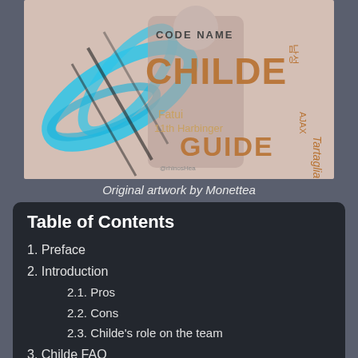[Figure (illustration): Artwork cover for 'Code Name: Childe Guide' featuring an anime-style character with blue swirling elements, text reading CODE NAME CHILDE GUIDE, Fatui 11th Harbinger, AJAX, Tartaglia, with Korean characters 남성]
Original artwork by Monettea
Table of Contents
1.  Preface
2.  Introduction
2.1.  Pros
2.2.  Cons
2.3.  Childe's role on the team
3.  Childe FAQ
4.  Character Breakdown
4.1.  Talents
4.2.  Constellations
5.  Talent Priority